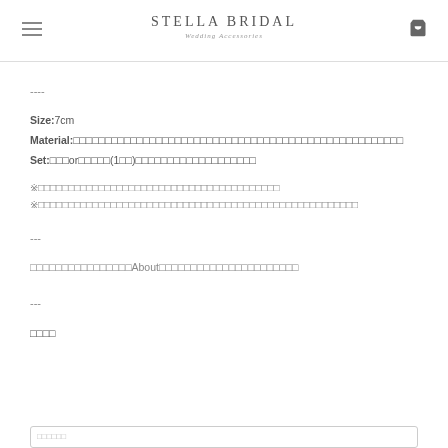STELLA BRIDAL — Wedding Accessories
----
Size:7cm
Material:□□□□□□□□□□□□□□□□□□□□□□□□□□□□□□□□□□□□□□□□□□□□□□□
Set:□□□or□□□□□(1□□)□□□□□□□□□□□□□□□□□□□
※□□□□□□□□□□□□□□□□□□□□□□□□□□□□□□□□□□□□□
※□□□□□□□□□□□□□□□□□□□□□□□□□□□□□□□□□□□□□□□□□□□□□□□□□
---
□□□□□□□□□□□□□□□□About□□□□□□□□□□□□□□□□□□□□□□
---
□□□□